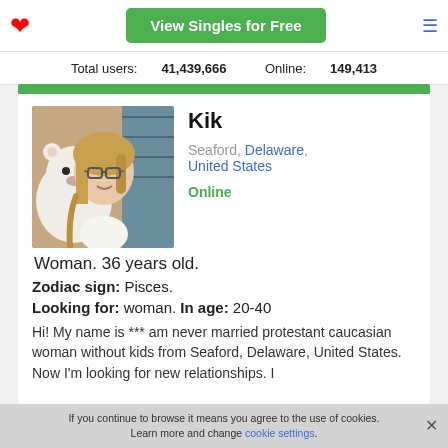View Singles for Free
Total users: 41,439,666   Online: 149,413
[Figure (photo): Profile photo of a young woman with glasses holding a large stuffed animal toy in a store]
Kik
Seaford, Delaware, United States
Online
Woman. 36 years old.
Zodiac sign: Pisces.
Looking for: woman. In age: 20-40
Hi! My name is *** am never married protestant caucasian woman without kids from Seaford, Delaware, United States. Now I'm looking for new relationships. I
If you continue to browse it means you agree to the use of cookies. Learn more and change cookie settings.